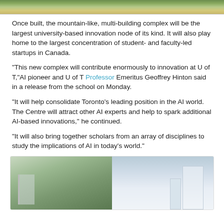[Figure (photo): Top portion of an outdoor scene, likely a green/natural area near a university building, cropped at the top of the page.]
Once built, the mountain-like, multi-building complex will be the largest university-based innovation node of its kind. It will also play home to the largest concentration of student- and faculty-led startups in Canada.
"This new complex will contribute enormously to innovation at U of T," AI pioneer and U of T Professor Emeritus Geoffrey Hinton said in a release from the school on Monday.
"It will help consolidate Toronto's leading position in the AI world. The Centre will attract other AI experts and help to spark additional AI-based innovations," he continued.
"It will also bring together scholars from an array of disciplines to study the implications of AI in today's world."
[Figure (photo): Architectural rendering or photo of a modern building complex, showing glass and concrete structures with greenery in the foreground on the left side, and a tall modern tower on the right side against a blue sky.]